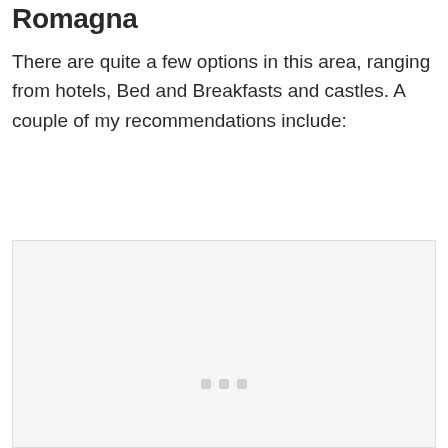Romagna
There are quite a few options in this area, ranging from hotels, Bed and Breakfasts and castles. A couple of my recommendations include:
[Figure (photo): Light gray placeholder image with three small gray squares centered near the bottom, representing an embedded image or slideshow placeholder]